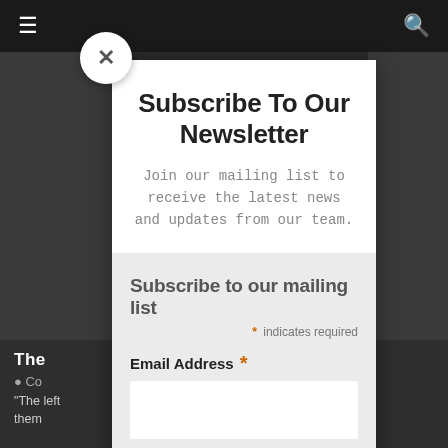≡   🔍
Subscribe To Our Newsletter
Join our mailing list to receive the latest news and updates from our team.
Subscribe to our mailing list
* indicates required
Email Address *
The
Co
"The left them